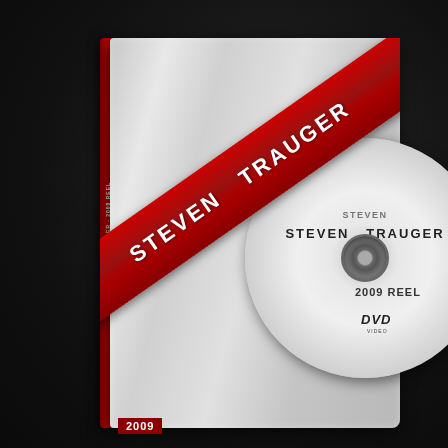[Figure (photo): A DVD case with clear plastic sleeve showing a disc labeled 'STEVEN TRAUGER 2009 REEL'. A diagonal red banner across the case reads 'STEVEN TRAUGER' in white bold text. The DVD case has a red spine. The bottom of the case shows '2009' text.]